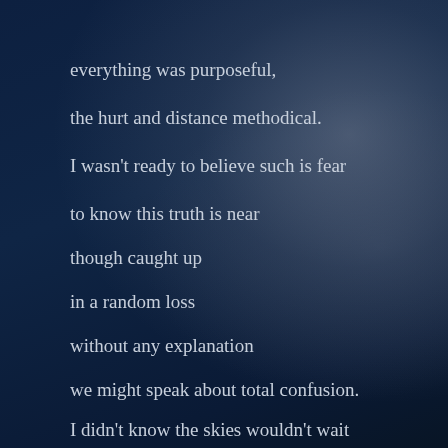everything was purposeful,
the hurt and distance methodical.
I wasn't ready to believe such is fear
to know this truth is near
though caught up
in a random loss
without any explanation
we might speak about total confusion.
I didn't know the skies wouldn't wait